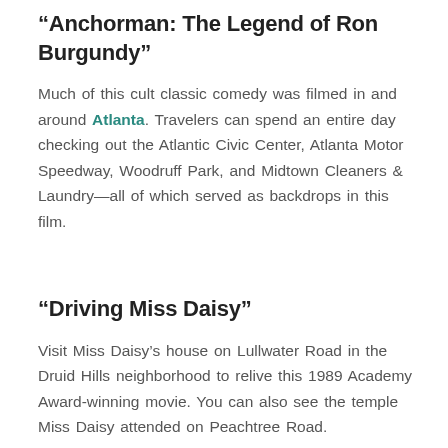"Anchorman: The Legend of Ron Burgundy"
Much of this cult classic comedy was filmed in and around Atlanta. Travelers can spend an entire day checking out the Atlantic Civic Center, Atlanta Motor Speedway, Woodruff Park, and Midtown Cleaners & Laundry—all of which served as backdrops in this film.
"Driving Miss Daisy"
Visit Miss Daisy's house on Lullwater Road in the Druid Hills neighborhood to relive this 1989 Academy Award-winning movie. You can also see the temple Miss Daisy attended on Peachtree Road.